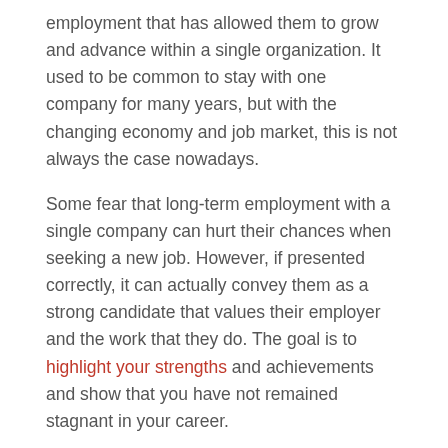employment that has allowed them to grow and advance within a single organization. It used to be common to stay with one company for many years, but with the changing economy and job market, this is not always the case nowadays.
Some fear that long-term employment with a single company can hurt their chances when seeking a new job. However, if presented correctly, it can actually convey them as a strong candidate that values their employer and the work that they do. The goal is to highlight your strengths and achievements and show that you have not remained stagnant in your career.
1. List each position held